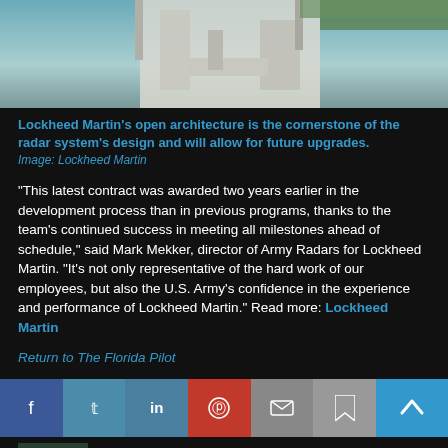[Figure (photo): Close-up photo of a white radar/military structure with green elements and blue sky background]
Lockheed Martin's open architecture is the cornerstone of the radar system's design and will allow for future upgrades.
Image: Lockheed Martin
“This latest contract was awarded two years earlier in the development process than in previous programs, thanks to the team’s continued success in meeting all milestones ahead of schedule,” said Mark Mekker, director of Army Radars for Lockheed Martin. “It’s not only representative of the hard work of our employees, but also the U.S. Army’s confidence in the experience and performance of Lockheed Martin.” Read more: Lockheed Martin
Return to The Florida Pilot
[Figure (infographic): Social media share bar with Facebook, Twitter, LinkedIn, Pinterest, Email, Bookmark buttons and an up arrow button]
« PREVIOUS